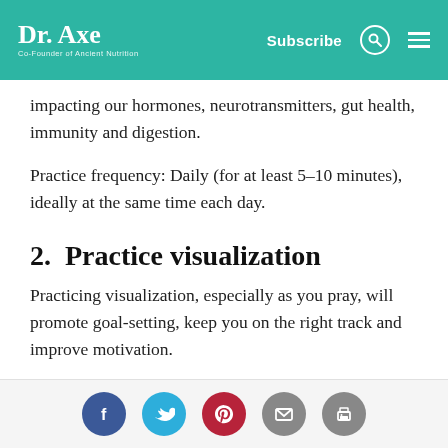Dr. Axe — Co-Founder of Ancient Nutrition | Subscribe
impacting our hormones, neurotransmitters, gut health, immunity and digestion.
Practice frequency: Daily (for at least 5–10 minutes), ideally at the same time each day.
2. Practice visualization
Practicing visualization, especially as you pray, will promote goal-setting, keep you on the right track and improve motivation.
Practice frequency: Daily, can be done with healing prayer.
Social share buttons: Facebook, Twitter, Pinterest, Email, Print